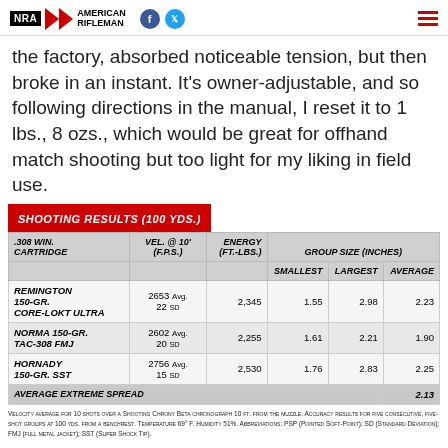NRA American Rifleman
the factory, absorbed noticeable tension, but then broke in an instant. It's owner-adjustable, and so following directions in the manual, I reset it to 1 lbs., 8 ozs., which would be great for offhand match shooting but too light for my liking in field use.
| .308 WIN. CARTRIDGE | VEL. @ 10' (F.P.S.) | ENERGY (FT.-LBS.) | SMALLEST | LARGEST | AVERAGE |
| --- | --- | --- | --- | --- | --- |
| REMINGTON 150-GR. CORE-LOKT ULTRA | 2653 Avg. 22 SD | 2,345 | 1.55 | 2.98 | 2.23 |
| NORMA 150-GR. TAC-308 FMJ | 2602 Avg. 20 SD | 2,255 | 1.61 | 2.21 | 1.90 |
| HORNADY 150-GR. SST | 2756 Avg. 15 SD | 2,530 | 1.76 | 2.83 | 2.25 |
| AVERAGE EXTREME SPREAD |  |  |  |  | 2.13 |
Velocity average for 10 shots over a Shooting Chrony Beta chronograph 10 ft. from the muzzle. Accuracy results for five consecutive, five-shot groups at 100 yds. from a benchrest. Temperature 69° F. Humidity 51%. Abbreviations: PSP (Pointed Soft-Point); SD (Standard Deviation); FMJ (Full Metal Jacket); SST (Super Shock Tip).